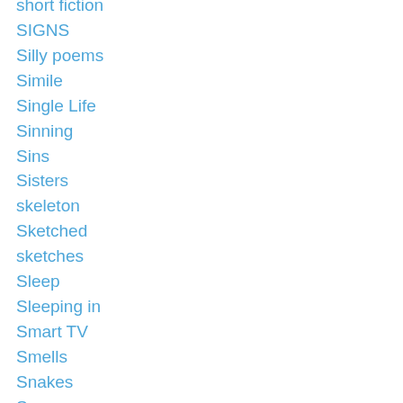short fiction
SIGNS
Silly poems
Simile
Single Life
Sinning
Sins
Sisters
skeleton
Sketched
sketches
Sleep
Sleeping in
Smart TV
Smells
Snakes
Soccer
Social Media
social networking
Socks